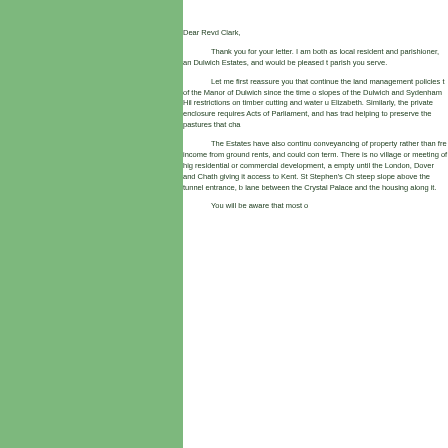Dear Revd Clark,
Thank you for your letter. I am both as local resident and parishioner, and Dulwich Estates, and would be pleased t parish you serve.
Let me first reassure you that continue the land management policies t of the Manor of Dulwich since the time o slopes of the Dulwich and Sydenham Hil restrictions on timber cutting and water u Elizabeth. Similarly, the private enclosure requires Acts of Parliament, and has trad helping to preserve the pastures that cha
The Estates have also continu conveyancing of property rather than fre income from ground rents, and could co term. There is no village or meeting of hi residential or commercial development, empty until the London, Dover and Chat giving it access to Kent. St Stephen's C steep slope above the tunnel entrance, lane between the Crystal Palace and the housing along it.
You will be aware that most o